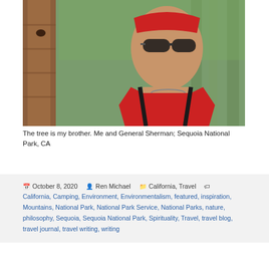[Figure (photo): A man wearing sunglasses and a red bandana, in a red tank top with a necklace, taking a selfie in front of a large sequoia tree trunk with tall trees in the background.]
The tree is my brother. Me and General Sherman; Sequoia National Park, CA
October 8, 2020  Ren Michael  California, Travel  California, Camping, Environment, Environmentalism, featured, inspiration, Mountains, National Park, National Park Service, National Parks, nature, philosophy, Sequoia, Sequoia National Park, Spirituality, Travel, travel blog, travel journal, travel writing, writing